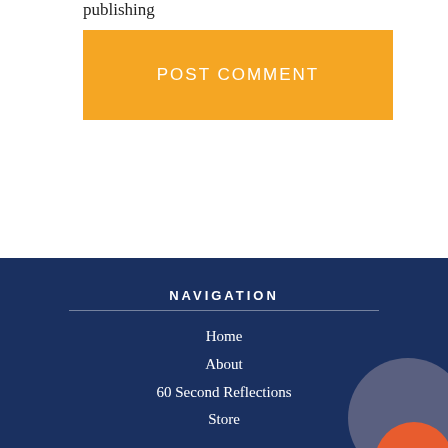publishing
POST COMMENT
NAVIGATION
Home
About
60 Second Reflections
Store